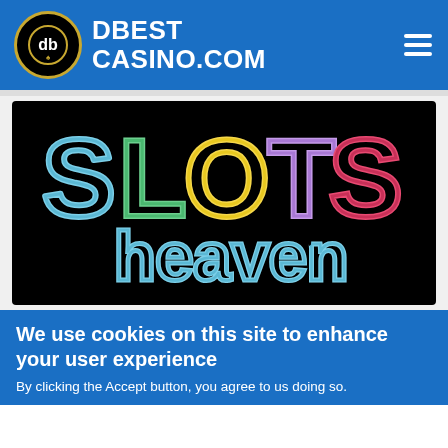DBEST CASINO.COM
[Figure (logo): Slots Heaven logo on black background — colorful retro neon-style letters spelling SLOTS heaven]
We use cookies on this site to enhance your user experience
By clicking the Accept button, you agree to us doing so.